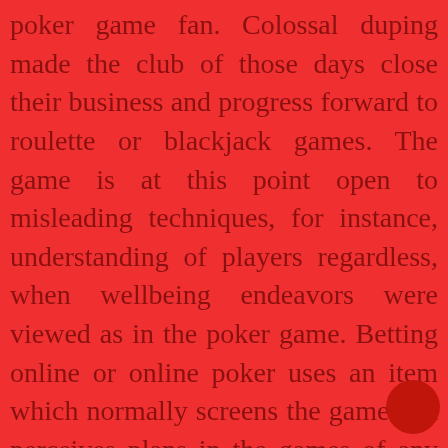poker game fan. Colossal duping made the club of those days close their business and progress forward to roulette or blackjack games. The game is at this point open to misleading techniques, for instance, understanding of players regardless, when wellbeing endeavors were viewed as in the poker game. Betting online or online poker uses an item which normally screens the game and perceives plans in the games of any player to recognize any possible interest between something like 2 players. Betting online or online poker writing computer programs is moreover prepared to really take a look at any player's IP areas to have the choice to check whether 2 or extra players are playing from a comparative district which.